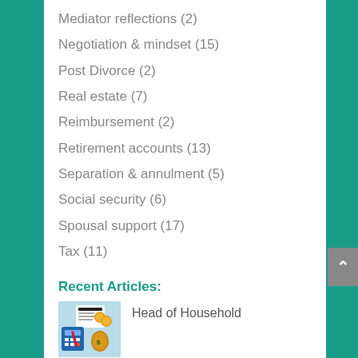Mediator reflections (2)
Negotiation & mindset (15)
Post Divorce (2)
Real estate (7)
Reimbursement (2)
Retirement accounts (13)
Separation & annulment (5)
Social security (6)
Spousal support (17)
Tax (11)
Recent Articles:
[Figure (photo): Income tax document with calculator, coins and money bags]
Head of Household
[Figure (photo): Stock market ticker board with red and green numbers]
Stock Options in a Divorce